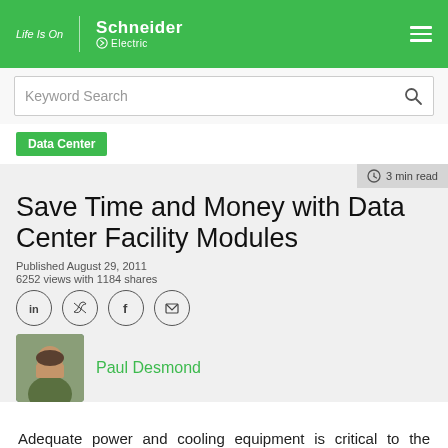Life Is On | Schneider Electric
Keyword Search
Data Center
3 min read
Save Time and Money with Data Center Facility Modules
Published August 29, 2011
6252 views with 1184 shares
[Figure (other): Social share icons: LinkedIn, Twitter, Facebook, Email]
Paul Desmond
[Figure (photo): Headshot photo of Paul Desmond]
Adequate power and cooling equipment is critical to the everyday functioning and long-term reliability of a data center.